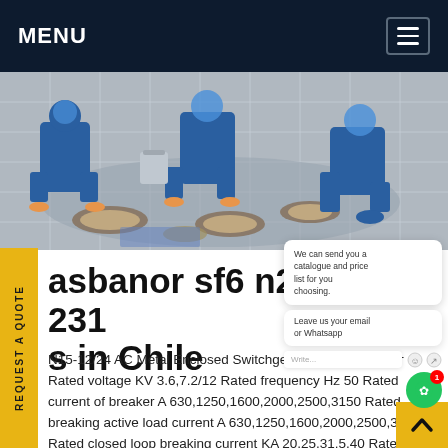MENU
[Figure (photo): Workers in blue uniforms working on circular metal components on a tiled floor]
asbanor sf6 n2 servi 231 s in Chile
N15-12/24 AC Metal Enclosed Switchgear Item : Parameter Rated voltage KV 3.6,7.2/12 Rated frequency Hz 50 Rated current of breaker A 630,1250,1600,2000,2500,3150 Rated breaking active load current A 630,1250,1600,2000,2500,3150 Rated closed loop breaking current KA 20,25,31.5,40 Rated